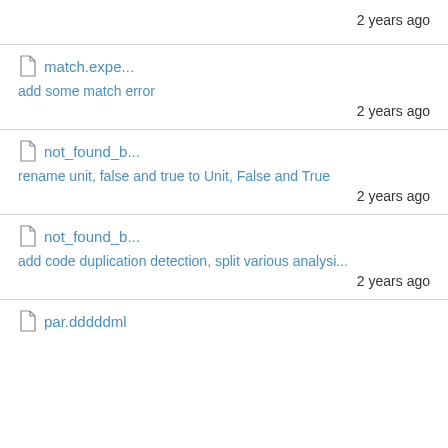2 years ago
match.expe...
add some match error
2 years ago
not_found_b...
rename unit, false and true to Unit, False and True
2 years ago
not_found_b...
add code duplication detection, split various analysi...
2 years ago
par.dddddml